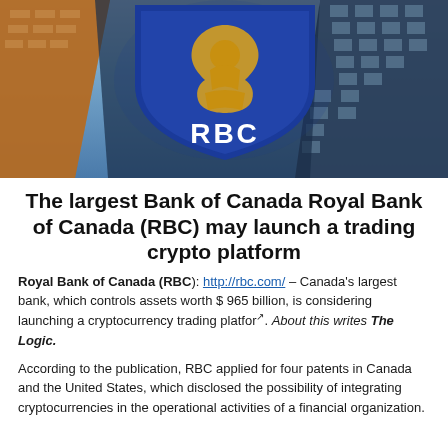[Figure (photo): Photo of the RBC (Royal Bank of Canada) building sign from below, showing the blue and gold RBC shield logo against skyscrapers and sky]
The largest Bank of Canada Royal Bank of Canada (RBC) may launch a trading crypto platform
Royal Bank of Canada (RBC): http://rbc.com/ – Canada's largest bank, which controls assets worth $ 965 billion, is considering launching a cryptocurrency trading platform. About this writes The Logic.
According to the publication, RBC applied for four patents in Canada and the United States, which disclosed the possibility of integrating cryptocurrencies in the operational activities of a financial organization.